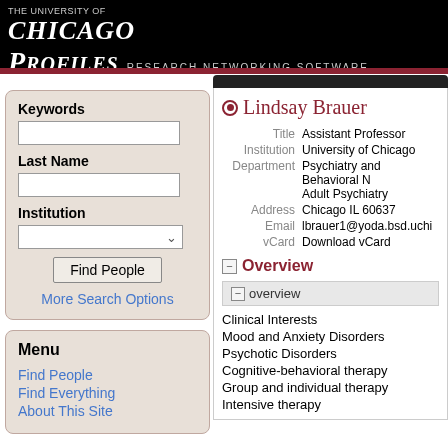The University of Chicago PROFILES Research Networking Software
Keywords
Last Name
Institution
Find People
More Search Options
Menu
Find People
Find Everything
About This Site
Lindsay Brauer
| Label | Value |
| --- | --- |
| Title | Assistant Professor |
| Institution | University of Chicago |
| Department | Psychiatry and Behavioral N Adult Psychiatry |
| Address | Chicago IL 60637 |
| Email | lbrauer1@yoda.bsd.uchi |
| vCard | Download vCard |
Overview
overview
Clinical Interests
Mood and Anxiety Disorders
Psychotic Disorders
Cognitive-behavioral therapy
Group and individual therapy
Intensive therapy